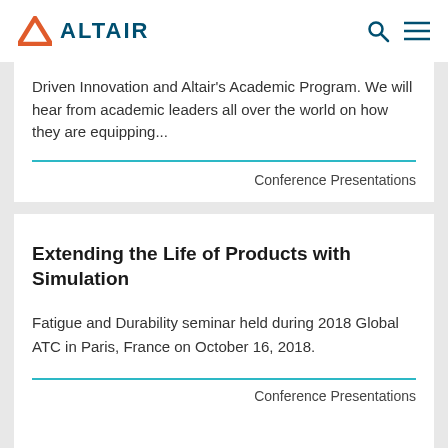ALTAIR
Driven Innovation and Altair's Academic Program. We will hear from academic leaders all over the world on how they are equipping...
Conference Presentations
Extending the Life of Products with Simulation
Fatigue and Durability seminar held during 2018 Global ATC in Paris, France on October 16, 2018.
Conference Presentations